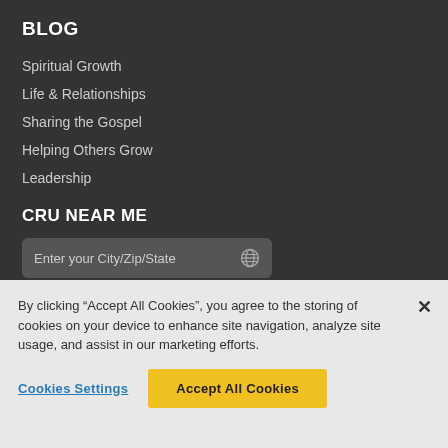BLOG
Spiritual Growth
Life & Relationships
Sharing the Gospel
Helping Others Grow
Leadership
CRU NEAR ME
[Figure (other): Search input field with placeholder text 'Enter your City/Zip/State' and a globe icon on the right]
By clicking “Accept All Cookies”, you agree to the storing of cookies on your device to enhance site navigation, analyze site usage, and assist in our marketing efforts.
Cookies Settings
Accept All Cookies